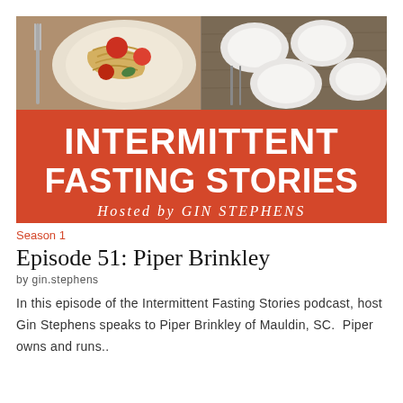[Figure (illustration): Podcast cover art showing food photos (pasta with tomatoes on left, white plates on right) with red banner reading INTERMITTENT FASTING STORIES Hosted by GIN STEPHENS]
Season 1
Episode 51: Piper Brinkley
by gin.stephens
In this episode of the Intermittent Fasting Stories podcast, host Gin Stephens speaks to Piper Brinkley of Mauldin, SC.  Piper owns and runs..